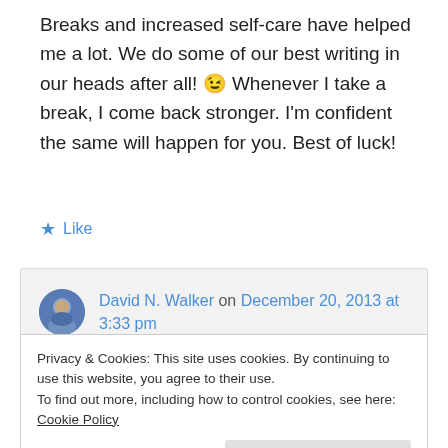Breaks and increased self-care have helped me a lot. We do some of our best writing in our heads after all! 😉 Whenever I take a break, I come back stronger. I'm confident the same will happen for you. Best of luck!
★ Like
David N. Walker on December 20, 2013 at 3:33 pm
Privacy & Cookies: This site uses cookies. By continuing to use this website, you agree to their use.
To find out more, including how to control cookies, see here: Cookie Policy
Close and accept